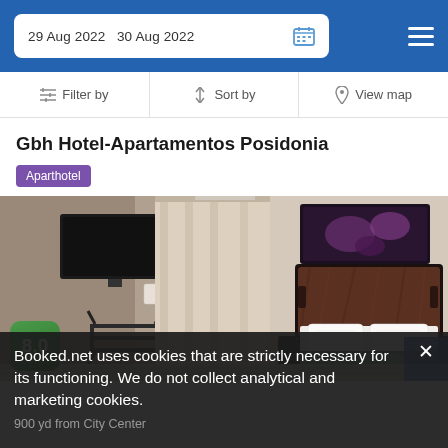29 Aug 2022  30 Aug 2022
Filter by   Sort by   View map
Gbh Hotel-Apartamentos Posidonia
Aparthotel
[Figure (photo): Hotel room interior showing a double bed with dark wooden headboard, white bedding with a grey runner, wall-mounted TV on the left, curtains, and a decorative artwork photo above the headboard]
Booked.net uses cookies that are strictly necessary for its functioning. We do not collect analytical and marketing cookies.
900 yd from City Center